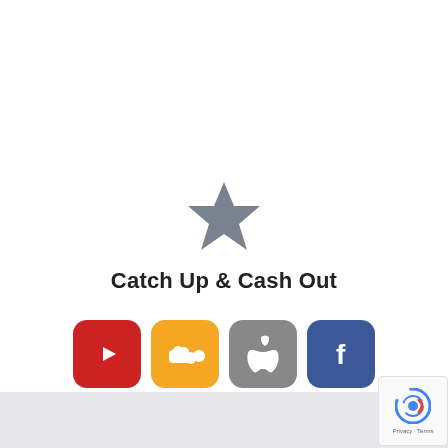[Figure (illustration): Gray star icon centered on page]
Catch Up & Cash Out
[Figure (logo): Four social media icon buttons in a row: YouTube (red), SoundCloud (orange), Apple (gray), Facebook (dark blue)]
[Figure (logo): Google reCAPTCHA badge with Privacy and Terms links]